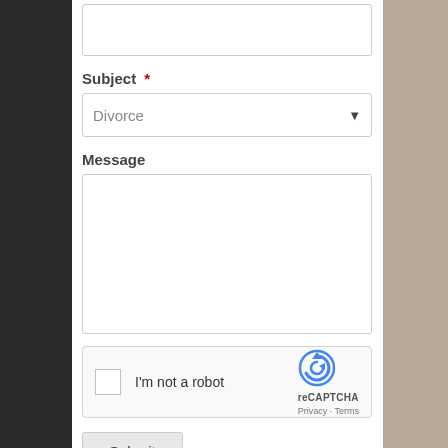(text input field - top, partially visible)
Subject *
Divorce (dropdown)
Message
(textarea field)
I'm not a robot - reCAPTCHA Privacy · Terms
Submit